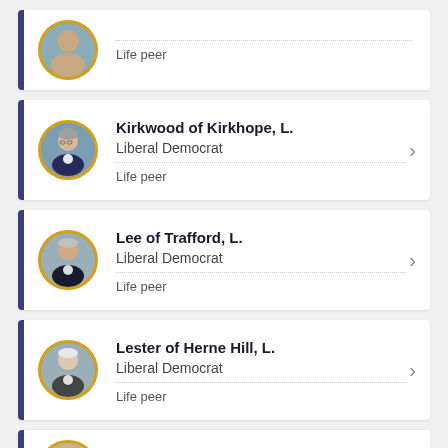Life peer
Kirkwood of Kirkhope, L. | Liberal Democrat | Life peer
Lee of Trafford, L. | Liberal Democrat | Life peer
Lester of Herne Hill, L. | Liberal Democrat | Life peer
Linklater of Butterstone, B.